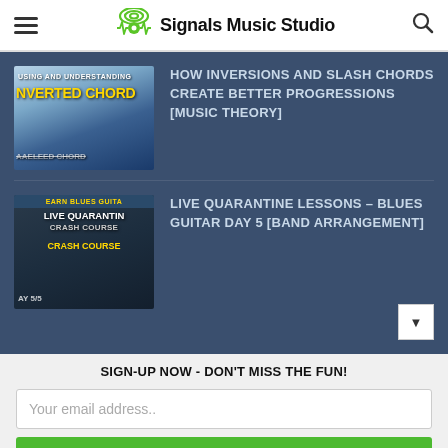Signals Music Studio
[Figure (screenshot): Thumbnail image for 'How Inversions and Slash Chords Create Better Progressions' video — shows text 'Using and Understanding Inverted Chords' on blue gradient background]
HOW INVERSIONS AND SLASH CHORDS CREATE BETTER PROGRESSIONS [MUSIC THEORY]
[Figure (screenshot): Thumbnail image for 'Live Quarantine Lessons – Blues Guitar Day 5' video — dark background with yellow text 'LEARN BLUES GUITAR', 'LIVE QUARANTINE CRASH COURSE', 'DAY 5/5']
LIVE QUARANTINE LESSONS – BLUES GUITAR DAY 5 [BAND ARRANGEMENT]
SIGN-UP NOW - DON'T MISS THE FUN!
Your email address..
SUBSCRIBE